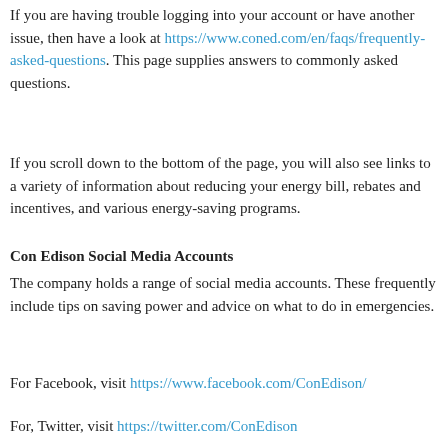If you are having trouble logging into your account or have another issue, then have a look at https://www.coned.com/en/faqs/frequently-asked-questions. This page supplies answers to commonly asked questions.
If you scroll down to the bottom of the page, you will also see links to a variety of information about reducing your energy bill, rebates and incentives, and various energy-saving programs.
Con Edison Social Media Accounts
The company holds a range of social media accounts. These frequently include tips on saving power and advice on what to do in emergencies.
For Facebook, visit https://www.facebook.com/ConEdison/
For, Twitter, visit https://twitter.com/ConEdison